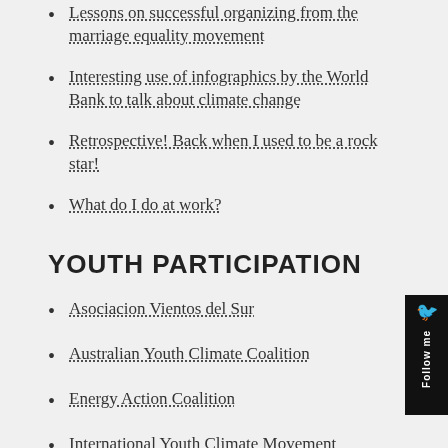Lessons on successful organizing from the marriage equality movement
Interesting use of infographics by the World Bank to talk about climate change
Retrospective! Back when I used to be a rock star!
What do I do at work?
YOUTH PARTICIPATION
Asociacion Vientos del Sur
Australian Youth Climate Coalition
Energy Action Coalition
International Youth Climate Movement